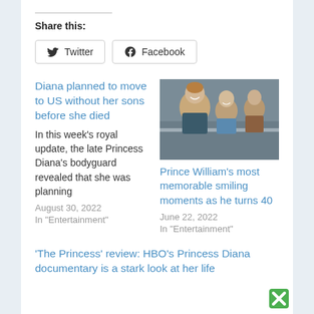Share this:
Twitter
Facebook
Diana planned to move to US without her sons before she died
In this week's royal update, the late Princess Diana's bodyguard revealed that she was planning
August 30, 2022
In "Entertainment"
[Figure (photo): Princess Diana smiling with two young boys (Prince William and Prince Harry), outdoors, leaning on a railing]
Prince William's most memorable smiling moments as he turns 40
June 22, 2022
In "Entertainment"
'The Princess' review: HBO's Princess Diana documentary is a stark look at her life